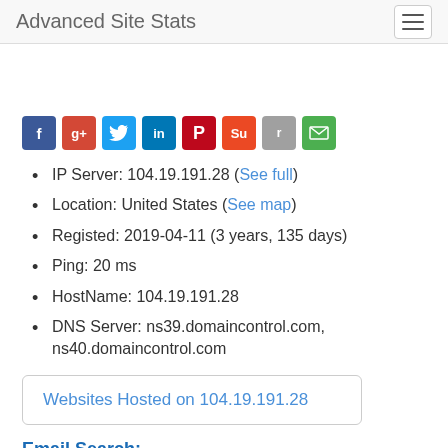Advanced Site Stats
[Figure (other): Social sharing icons row: Facebook (blue), Google+ (red), Twitter (light blue), LinkedIn (dark blue), Pinterest (dark red), StumbleUpon (orange-red), Reddit (gray), Email (green)]
IP Server: 104.19.191.28 (See full)
Location: United States (See map)
Registed: 2019-04-11 (3 years, 135 days)
Ping: 20 ms
HostName: 104.19.191.28
DNS Server: ns39.domaincontrol.com, ns40.domaincontrol.com
Websites Hosted on 104.19.191.28
Email Search:
agency360.io   Find @agency360.io